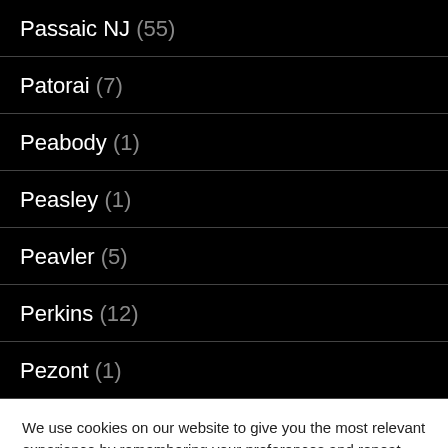Passaic NJ (55)
Patorai (7)
Peabody (1)
Peasley (1)
Peavler (5)
Perkins (12)
Pezont (1)
We use cookies on our website to give you the most relevant experience by remembering your preferences and repeat visits. By clicking “Accept”, you consent to the use of ALL the cookies. Do not sell my personal information.
Cookie settings  ACCEPT